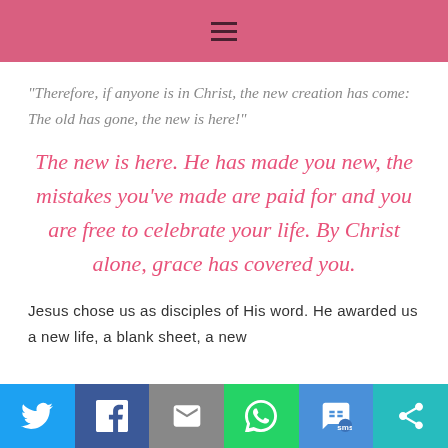≡
“Therefore, if anyone is in Christ, the new creation has come: The old has gone, the new is here!”
The new is here. He has made you new, the mistakes you’ve made are paid for and you are free to celebrate your life. By Christ alone, grace has covered you.
Jesus chose us as disciples of His word. He awarded us a new life, a blank sheet, a new
Share buttons: Twitter, Facebook, Email, WhatsApp, SMS, More